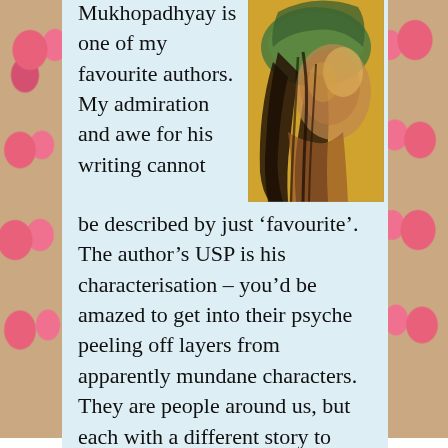Mukhopadhyay is one of my favourite authors. My admiration and awe for his writing cannot be described by just 'favourite'. The author's USP is his characterisation – you'd be amazed to get into their psyche peeling off layers from apparently mundane characters. They are people around us, but each with a different story to
[Figure (illustration): A painted/drawn illustration of a figure with long dark hair and a green headband, rendered in warm yellow and orange tones with expressive brushwork.]
Privacy & Cookies: This site uses cookies. By continuing to use this website, you agree to their use.
To find out more, including how to control cookies, see here: Cookie Policy
Close and accept